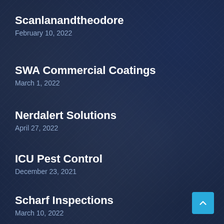Scanlanandtheodore
February 10, 2022
SWA Commercial Coatings
March 1, 2022
Nerdalert Solutions
April 27, 2022
ICU Pest Control
December 23, 2021
Scharf Inspections
March 10, 2022